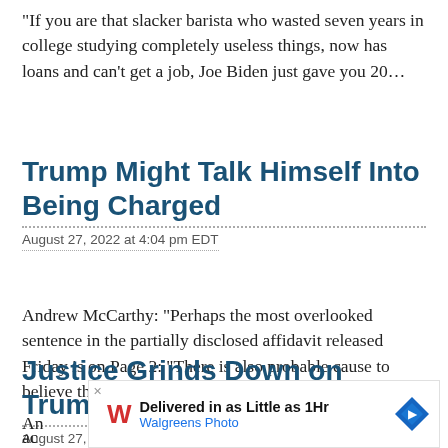“If you are that slacker barista who wasted seven years in college studying completely useless things, now has loans and can’t get a job, Joe Biden just gave you 20…
Trump Might Talk Himself Into Being Charged
August 27, 2022 at 4:04 pm EDT
Andrew McCarthy: “Perhaps the most overlooked sentence in the partially disclosed affidavit released Friday is on Page 2: “There is also probable cause to believe that evidence of obstruction will…
Justice Grinds Down on Trump
August 27, 2022 at 4:01 pm EDT
[Figure (other): Advertisement banner for Walgreens Photo: 'Delivered in as Little as 1Hr' with Walgreens cursive logo and navigation icon]